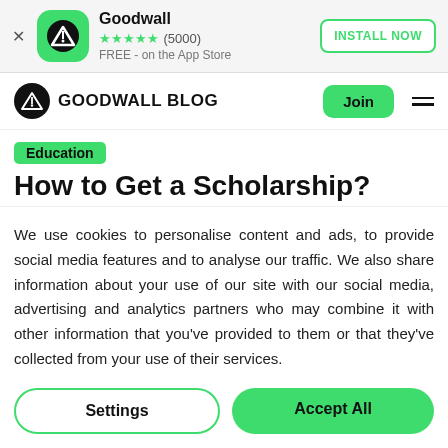[Figure (screenshot): App install banner for Goodwall app with icon, star rating (5000 reviews), FREE on the App Store label, and INSTALL NOW button]
[Figure (logo): Goodwall Blog navigation bar with logo icon, brand name GOODWALL BLOG, Join button, and hamburger menu]
Education
How to Get a Scholarship?
We use cookies to personalise content and ads, to provide social media features and to analyse our traffic. We also share information about your use of our site with our social media, advertising and analytics partners who may combine it with other information that you've provided to them or that they've collected from your use of their services.
Settings | Accept All